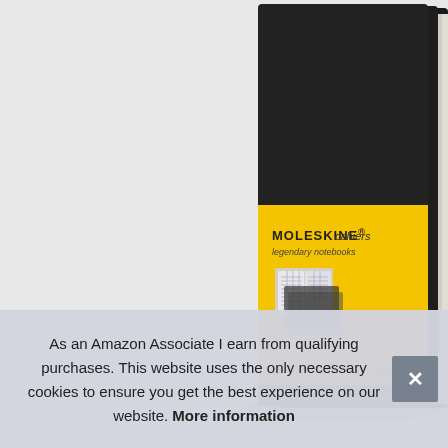[Figure (photo): Product photo of Moleskine Cahiers set of 3 Squared Journals — three black soft-cover notebooks stacked/fanned, with a yellow label band showing 'MOLESKINE® cahiers legendary notebooks' and an illustration of an open notebook. Text on label reads 'set of 3 Squared Journals'.]
As an Amazon Associate I earn from qualifying purchases. This website uses the only necessary cookies to ensure you get the best experience on our website. More information